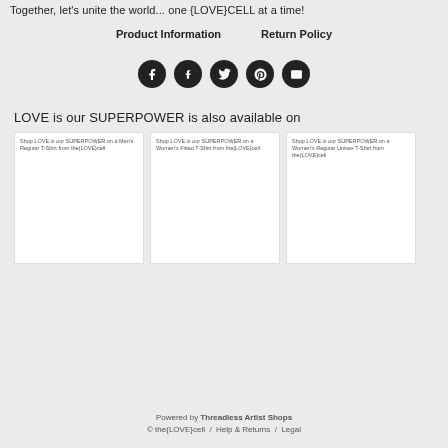Together, let's unite the world... one {LOVE}CELL at a time!
Product Information    Return Policy
[Figure (infographic): Five social media icon circles: Facebook, Tumblr, Twitter, Pinterest, Email]
LOVE is our SUPERPOWER is also available on
[Figure (screenshot): Shop LOVE is our SUPERPOWER on a Men's Regular T-Shirt from the{LOVE}cell]
[Figure (screenshot): Shop LOVE is our SUPERPOWER on a Women's Fitted T-Shirt from the{LOVE}cell]
[Figure (screenshot): Shop LOVE is our SUPERPOWER on a Women's Regular Unisex T-Shirt from the{LOVE}cell]
Powered by Threadless Artist Shops
© the{LOVE}cell  /  Help & Returns  /  Legal